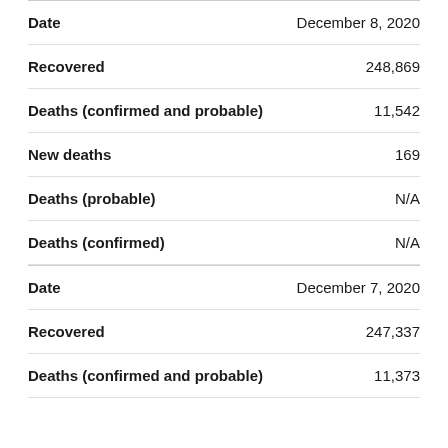| Field | Value |
| --- | --- |
| Date | December 8, 2020 |
| Recovered | 248,869 |
| Deaths (confirmed and probable) | 11,542 |
| New deaths | 169 |
| Deaths (probable) | N/A |
| Deaths (confirmed) | N/A |
| Date | December 7, 2020 |
| Recovered | 247,337 |
| Deaths (confirmed and probable) | 11,373 |